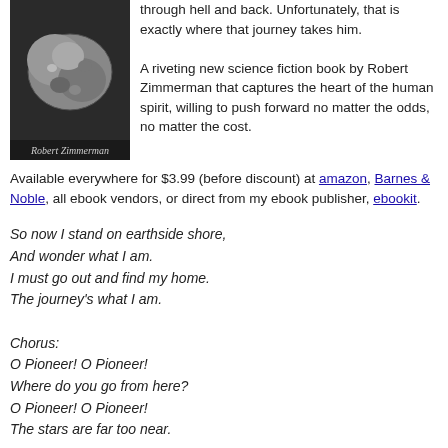through hell and back. Unfortunately, that is exactly where that journey takes him.
A riveting new science fiction book by Robert Zimmerman that captures the heart of the human spirit, willing to push forward no matter the odds, no matter the cost.
Available everywhere for $3.99 (before discount) at amazon, Barnes & Noble, all ebook vendors, or direct from my ebook publisher, ebookit.
[Figure (photo): Book cover photo showing an asteroid with 'Robert Zimmerman' text at bottom]
So now I stand on earthside shore,
And wonder what I am.
I must go out and find my home.
The journey's what I am.

Chorus:
O Pioneer! O Pioneer!
Where do you go from here?
O Pioneer! O Pioneer!
The stars are far too near.
The ebook edition of Genesis: the Story of Apollo 8 includes a foreword by Valerie Anders and a new introduction by Robert Zimmerman.
[Figure (photo): Genesis: The Story of Apollo 8 book cover, dark red background with Earth image]
Available everywhere for $5.99 (before discount) at amazon, or direct from the publisher, ebookit. If you buy from ebookit the author gets a bigger cut much sooner.